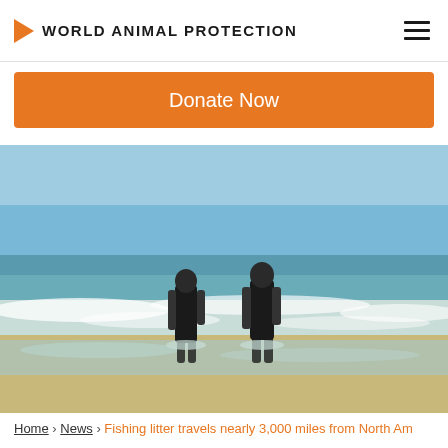WORLD ANIMAL PROTECTION
Donate Now
[Figure (photo): Two divers in black wetsuits and scuba gear walking out of ocean waves onto a sandy beach, blue sky in background.]
Home › News › Fishing litter travels nearly 3,000 miles from North Am